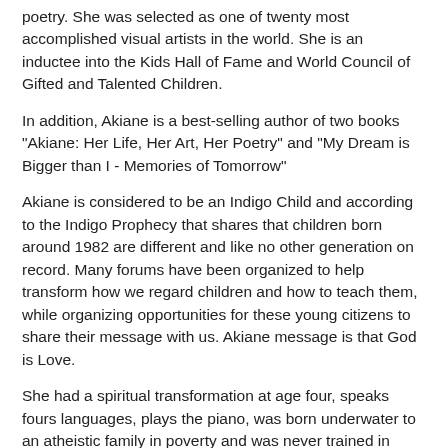poetry. She was selected as one of twenty most accomplished visual artists in the world. She is an inductee into the Kids Hall of Fame and World Council of Gifted and Talented Children.
In addition, Akiane is a best-selling author of two books "Akiane: Her Life, Her Art, Her Poetry" and "My Dream is Bigger than I - Memories of Tomorrow"
Akiane is considered to be an Indigo Child and according to the Indigo Prophecy that shares that children born around 1982 are different and like no other generation on record. Many forums have been organized to help transform how we regard children and how to teach them, while organizing opportunities for these young citizens to share their message with us. Akiane message is that God is Love.
She had a spiritual transformation at age four, speaks fours languages, plays the piano, was born underwater to an atheistic family in poverty and was never trained in painting. Her goal is to share her divine love worldwide.